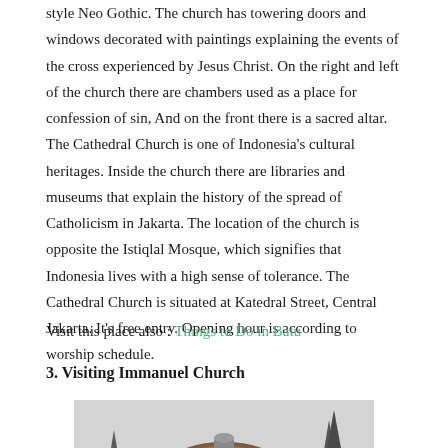style Neo Gothic. The church has towering doors and windows decorated with paintings explaining the events of the cross experienced by Jesus Christ. On the right and left of the church there are chambers used as a place for confession of sin. And on the front there is a sacred altar. The Cathedral Church is one of Indonesia's cultural heritages. Inside the church there are libraries and museums that explain the history of the spread of Catholicism in Jakarta. The location of the church is opposite the Istiqlal Mosque, which signifies that Indonesia lives with a high sense of tolerance. The Cathedral Church is situated at Katedral Street, Central Jakarta. It's free entry. Opening hour is according to worship schedule.
Visit this place also : Things to Do in Batu
3. Visiting Immanuel Church
[Figure (photo): Photo of Immanuel Church showing a domed roof structure with trees and grey sky in the background]